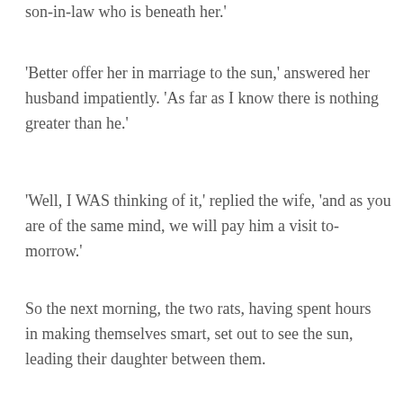son-in-law who is beneath her.'
'Better offer her in marriage to the sun,' answered her husband impatiently. 'As far as I know there is nothing greater than he.'
'Well, I WAS thinking of it,' replied the wife, 'and as you are of the same mind, we will pay him a visit to-morrow.'
So the next morning, the two rats, having spent hours in making themselves smart, set out to see the sun, leading their daughter between them.